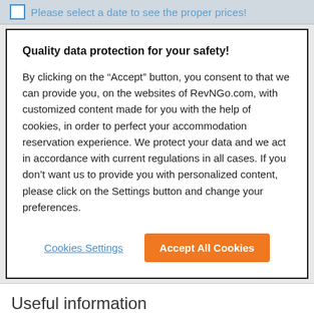Please select a date to see the proper prices!
Quality data protection for your safety!
By clicking on the “Accept” button, you consent to that we can provide you, on the websites of RevNGo.com, with customized content made for you with the help of cookies, in order to perfect your accommodation reservation experience. We protect your data and we act in accordance with current regulations in all cases. If you don’t want us to provide you with personalized content, please click on the Settings button and change your preferences.
Cookies Settings
Accept All Cookies
Useful information
6 km  City center